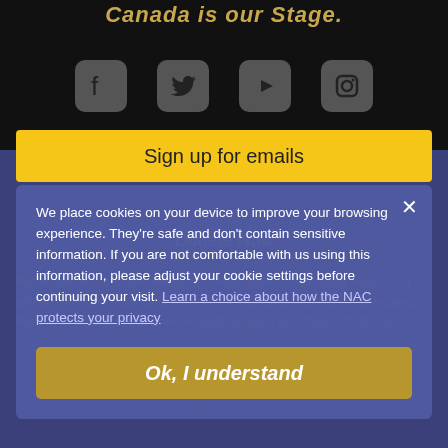Canada is our Stage.
[Figure (illustration): Social media icons: Facebook, Twitter, YouTube, Instagram in grey rounded square buttons]
Sign up for emails
Donate Now
We would like to acknowledge the Algonquin Anishinabeg Nation, on whose unceded traditional territory the National Arts Centre is located. We say a choice about how the past, present and future of this land.
We place cookies on your device to improve your browsing experience. They're safe and don't contain sensitive information. If you are not comfortable with us using this information, please adjust your cookie settings before continuing your visit. Learn a choice about how the NAC protects your privacy
Ok, I understand
© 2 National Arts Centre